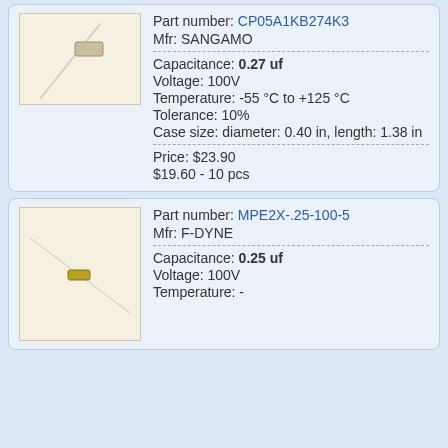[Figure (photo): Capacitor component image, partially visible at top]
Part number: CP05A1KB274K3
Mfr: SANGAMO
Capacitance: 0.27 uf
Voltage: 100V
Temperature: -55 °C to +125 °C
Tolerance: 10%
Case size: diameter: 0.40 in, length: 1.38 in
Price: $23.90
$19.60 - 10 pcs
[Figure (photo): Small yellow/gold capacitor component with leads on white background]
Part number: MPE2X-.25-100-5
Mfr: F-DYNE
Capacitance: 0.25 uf
Voltage: 100V
Temperature: -